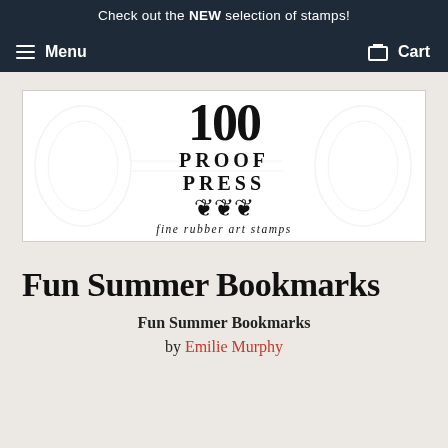Check out the NEW selection of stamps!
Menu   Cart
[Figure (logo): 100 Proof Press logo — large stylized '100' with decorative serif, 'PROOF PRESS' in bold caps with letter-spacing, ornamental flourish, tagline 'fine rubber art stamps'. Background has faint decorative watermark pattern.]
Fun Summer Bookmarks
Fun Summer Bookmarks
by Emilie Murphy